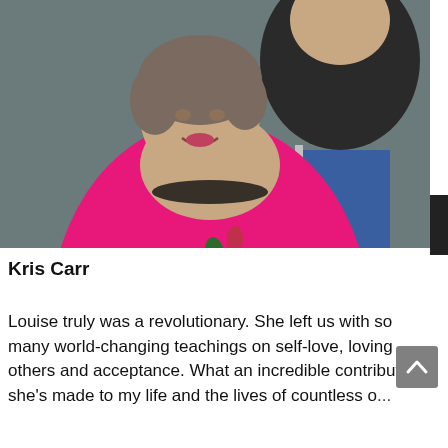[Figure (photo): Two people posing together for a photo. An elderly woman in a bright pink floral top is in the foreground, and a younger man in a dark shirt stands behind her with his hand on her shoulder. They appear to be indoors near a blue chair.]
Kris Carr
Louise truly was a revolutionary. She left us with so many world-changing teachings on self-love, loving others and acceptance. What an incredible contribution she's made to my life and the lives of countless o...